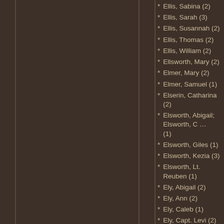Ellis, Sabina (2)
Ellis, Sarah (3)
Ellis, Susannah (2)
Ellis, Thomas (2)
Ellis, William (2)
Ellsworth, Mary (2)
Elmer, Mary (2)
Elmer, Samuel (1)
Elserin, Catharina (2)
Elsworth, Abigail; Elsworth, C … (1)
Elsworth, Giles (1)
Elsworth, Kezia (3)
Elsworth, Lt. Reuben (1)
Ely, Abigail (2)
Ely, Ann (2)
Ely, Caleb (1)
Ely, Capt. Levi (2)